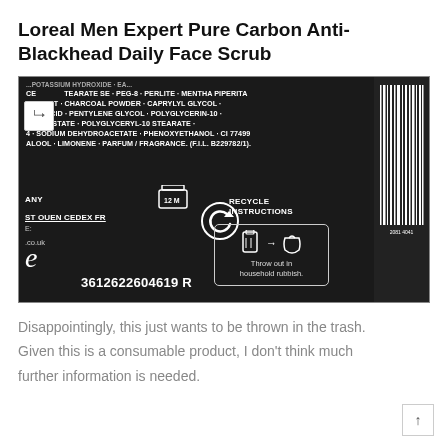Loreal Men Expert Pure Carbon Anti-Blackhead Daily Face Scrub
[Figure (photo): Close-up photo of the back label of Loreal Men Expert Pure Carbon Anti-Blackhead Daily Face Scrub packaging showing ingredients list, 12M period-after-opening symbol, recycle symbol, recycle instructions (Throw out in household rubbish), barcode, batch number 3612622604619 R, and ST OUEN CEDEX FR address, on a dark/black background.]
Disappointingly, this just wants to be thrown in the trash. Given this is a consumable product, I don't think much further information is needed.